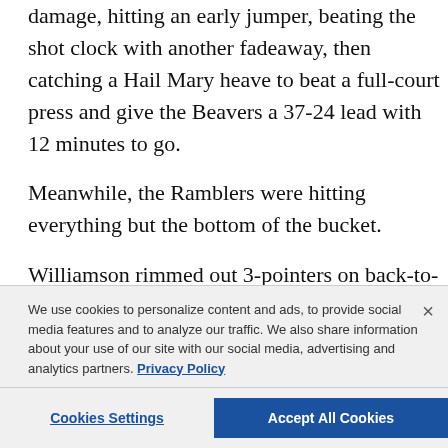damage, hitting an early jumper, beating the shot clock with another fadeaway, then catching a Hail Mary heave to beat a full-court press and give the Beavers a 37-24 lead with 12 minutes to go.
Meanwhile, the Ramblers were hitting everything but the bottom of the bucket.
Williamson rimmed out 3-pointers on back-to-back trips down the floor. Tate Hall clanked a couple of free throws when that was about the only place they were scoring. Krutwig even had a baby hook go halfway down and right back out.
Even when the shots wouldn't fall, Loyola continued to play defense, and that kept the game close. And when Braden Norris knocked down a 3 and Aher Uguak tipped in an ally-oop with 2:43 to go, the Ramblers had trimmed their deficit to 49-44 and had the partisan crowd sitting mostly in the rafters of Bankers Life Fieldhouse cheering.
We use cookies to personalize content and ads, to provide social media features and to analyze our traffic. We also share information about your use of our site with our social media, advertising and analytics partners. Privacy Policy
Cookies Settings | Accept All Cookies